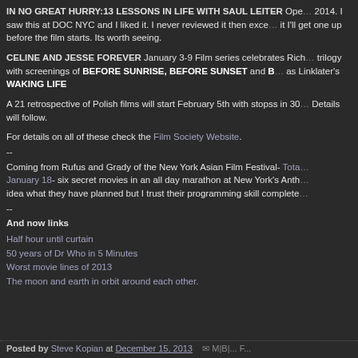IN NO GREAT HURRY:13 LESSONS IN LIFE WITH SAUL LEITER Opens January 2014. I saw this at DOC NYC and I liked it. I never reviewed it then except... it I'll get one up before the film starts. Its worth seeing.
CELINE AND JESSE FOREVER January 3-9 Film series celebrates Rich... trilogy with screenings of BEFORE SUNRISE, BEFORE SUNSET and B... as Linklater's WAKING LIFE
A 21 retrospective of Polish films will start February 5th with stopss in 30... Details will follow.
For details on all of these check the Film Society Website.
--
Coming from Rufus and Grady of the New York Asian Film Festival- Tota... January 18- six secret movies in an all day marathon at New York's Anth... idea what they have planned but I trust their programming skill complete...
--
And now links
Half hour until curtain
50 years of Dr Who in 5 Minutes
Worst movie lines of 2013
The moon and earth in orbit around each other.
Posted by Steve Kopian at December 15, 2013